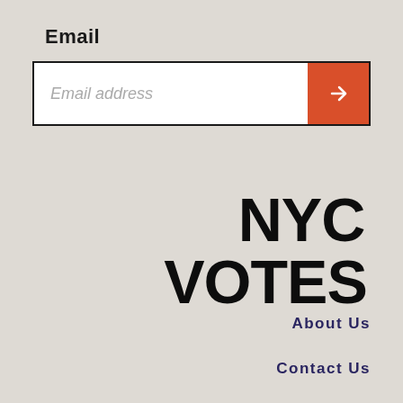Email
[Figure (screenshot): Email input field with placeholder text 'Email address' and an orange submit button with a right arrow icon]
[Figure (logo): NYC VOTES logo in large bold black text]
About Us
Contact Us